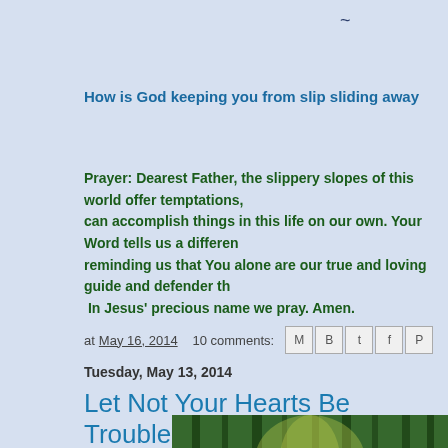~
How is God keeping you from slip sliding away
Prayer:  Dearest Father, the slippery slopes of this world offer temptations, can accomplish things in this life on our own.  Your Word tells us a different reminding us that You alone are our true and loving guide and defender th  In Jesus' precious name we pray.  Amen.
at May 16, 2014   10 comments:
Tuesday, May 13, 2014
Let Not Your Hearts Be Troubled
[Figure (photo): A forest photo with tall trees and light filtering through, with text overlay beginning with 'Do not...']